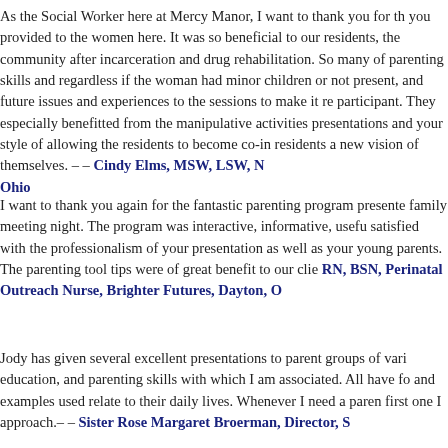As the Social Worker here at Mercy Manor, I want to thank you for the you provided to the women here. It was so beneficial to our residents, the community after incarceration and drug rehabilitation. So many of parenting skills and regardless if the woman had minor children or not present, and future issues and experiences to the sessions to make it re participant. They especially benefitted from the manipulative activities presentations and your style of allowing the residents to become co-in residents a new vision of themselves. – – Cindy Elms, MSW, LSW, N Ohio
I want to thank you again for the fantastic parenting program presente family meeting night. The program was interactive, informative, usefu satisfied with the professionalism of your presentation as well as your young parents. The parenting tool tips were of great benefit to our clie RN, BSN, Perinatal Outreach Nurse, Brighter Futures, Dayton, O
Jody has given several excellent presentations to parent groups of vari education, and parenting skills with which I am associated. All have fo and examples used relate to their daily lives. Whenever I need a paren first one I approach.– – Sister Rose Margaret Broerman, Director, S